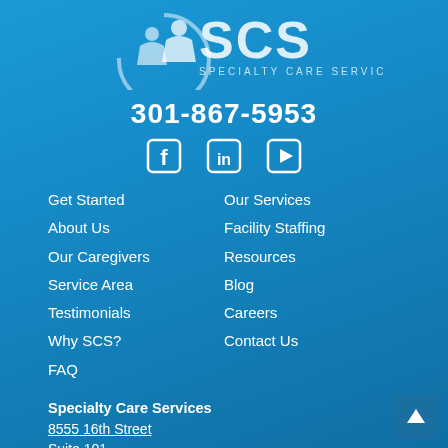[Figure (logo): SCS Specialty Care Services logo with stylized figures icon and text]
301-867-5953
[Figure (other): Social media icons: Facebook, LinkedIn, YouTube]
Get Started
About Us
Our Caregivers
Service Area
Testimonials
Why SCS?
FAQ
Our Services
Facility Staffing
Resources
Blog
Careers
Contact Us
Specialty Care Services
8555 16th Street
Suite 101
Silver Spring, MD 20910